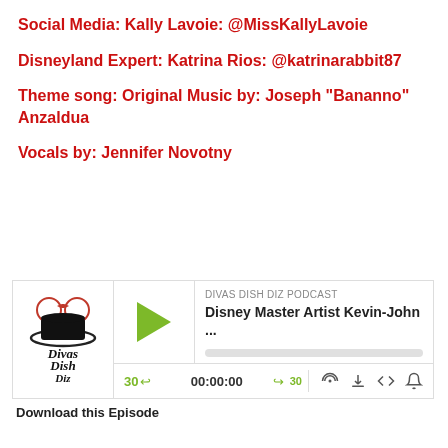Social Media: Kally Lavoie: @MissKallyLavoie
Disneyland Expert: Katrina Rios: @katrinarabbit87
Theme song: Original Music by: Joseph "Bananno" Anzaldua
Vocals by: Jennifer Novotny
[Figure (screenshot): Podcast player widget for Divas Dish Diz Podcast showing episode 'Disney Master Artist Kevin-John ...' with play button, progress bar, time controls (30 back, 00:00:00, forward 30), and icons for RSS feed, download, embed, and notifications. Logo shows Divas Dish Diz branding.]
Download this Episode